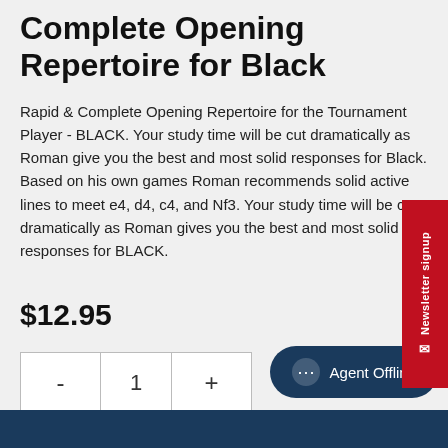Complete Opening Repertoire for Black
Rapid & Complete Opening Repertoire for the Tournament Player - BLACK. Your study time will be cut dramatically as Roman give you the best and most solid responses for Black. Based on his own games Roman recommends solid active lines to meet e4, d4, c4, and Nf3. Your study time will be cut dramatically as Roman gives you the best and most solid responses for BLACK.
$12.95
[Figure (other): Quantity selector widget with minus button, number 1, and plus button]
[Figure (other): Newsletter signup vertical sidebar tab in red]
[Figure (other): Agent Offline chat button in dark navy blue at bottom right]